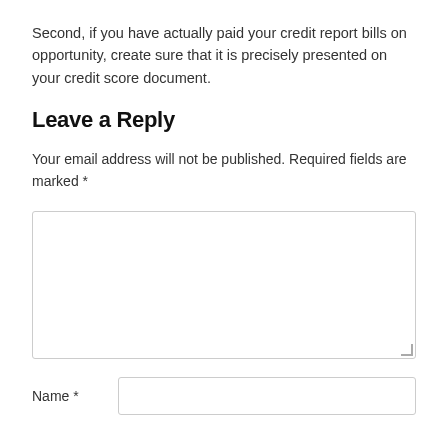Second, if you have actually paid your credit report bills on opportunity, create sure that it is precisely presented on your credit score document.
Leave a Reply
Your email address will not be published. Required fields are marked *
[textarea form field]
Name * [text input field]